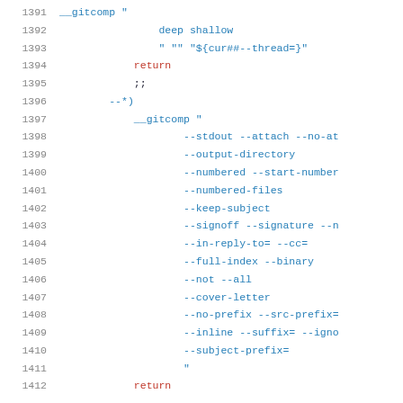[Figure (screenshot): Source code listing showing shell script lines 1391-1412 with syntax highlighting. Line numbers in gray on left, keywords 'return' in red, string/command values in blue, other code in dark/black.]